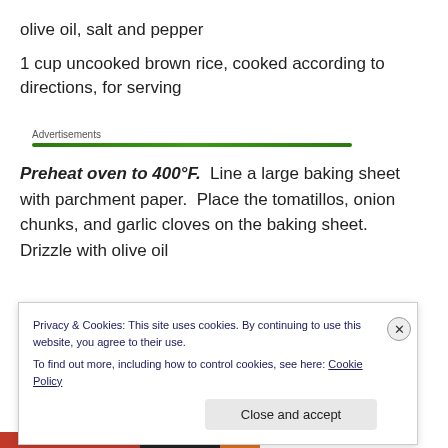olive oil, salt and pepper
1 cup uncooked brown rice, cooked according to directions, for serving
Advertisements
Preheat oven to 400°F.  Line a large baking sheet with parchment paper.  Place the tomatillos, onion chunks, and garlic cloves on the baking sheet.  Drizzle with olive oil
Privacy & Cookies: This site uses cookies. By continuing to use this website, you agree to their use.
To find out more, including how to control cookies, see here: Cookie Policy